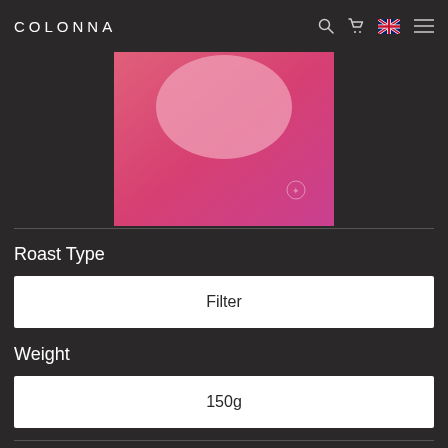COLONNA
[Figure (illustration): Pink gradient product image with a light pink circle/oval shape on a rose/magenta gradient background, with a small watermark icon in the lower right corner]
Roast Type
Filter
Weight
150g